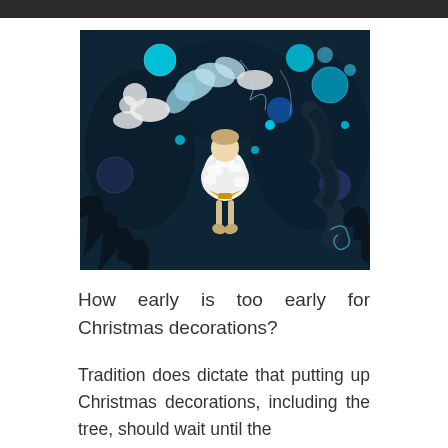[Figure (photo): Close-up photo of a blue and white Christmas tree decorated with teal/turquoise ornaments, fluffy dark feathers, white fuzzy decorations, blue baubles, and a small white fluffy angel or gnome figure in the center.]
How early is too early for Christmas decorations?
Tradition does dictate that putting up Christmas decorations, including the tree, should wait until the